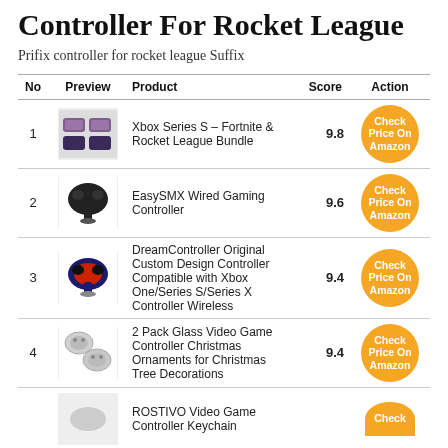Controller For Rocket League
Prifix controller for rocket league Suffix
| No | Preview | Product | Score | Action |
| --- | --- | --- | --- | --- |
| 1 | [image] | Xbox Series S – Fortnite & Rocket League Bundle | 9.8 | Check Price On Amazon |
| 2 | [image] | EasySMX Wired Gaming Controller | 9.6 | Check Price On Amazon |
| 3 | [image] | DreamController Original Custom Design Controller Compatible with Xbox One/Series S/Series X Controller Wireless | 9.4 | Check Price On Amazon |
| 4 | [image] | 2 Pack Glass Video Game Controller Christmas Ornaments for Christmas Tree Decorations | 9.4 | Check Price On Amazon |
| 5 | [image] | ROSTIVO Video Game Controller Keychain |  | Check |